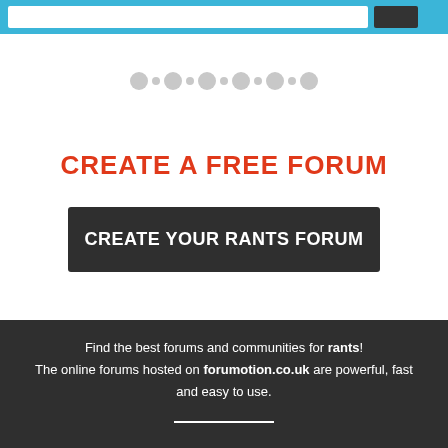[Figure (screenshot): Top navigation bar with search box and button on blue background]
[Figure (other): Row of alternating large and small grey dots as a decorative pagination indicator]
CREATE A FREE FORUM
CREATE YOUR RANTS FORUM
Find the best forums and communities for rants! The online forums hosted on forumotion.co.uk are powerful, fast and easy to use.